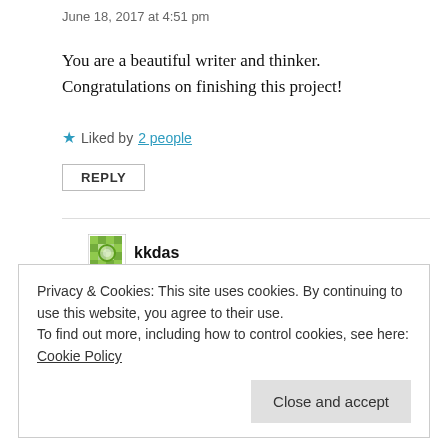June 18, 2017 at 4:51 pm
You are a beautiful writer and thinker. Congratulations on finishing this project!
★ Liked by 2 people
REPLY
kkdas
February 24, 2018 at 2:56 pm
Privacy & Cookies: This site uses cookies. By continuing to use this website, you agree to their use.
To find out more, including how to control cookies, see here: Cookie Policy
Close and accept